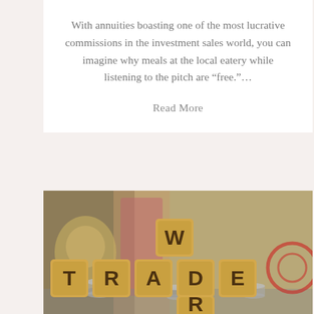With annuities boasting one of the most lucrative commissions in the investment sales world, you can imagine why meals at the local eatery while listening to the pitch are “free.”…
Read More
[Figure (photo): Wooden letter blocks spelling out TRADE WAR stacked on piles of coins, with US dollar bills and Chinese yuan currency visible in the background]